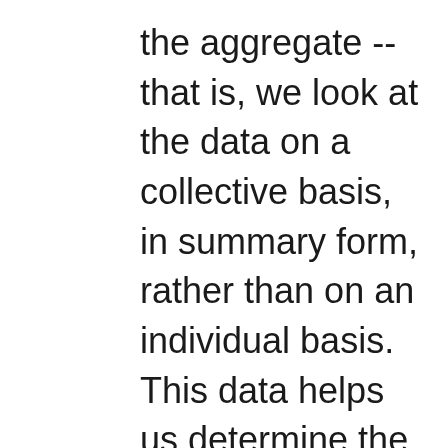the aggregate -- that is, we look at the data on a collective basis, in summary form, rather than on an individual basis. This data helps us determine the extent to which our visitors use certain parts of a Britannica site, which, in turn, enables us to make the Britannica sites as appealing as possible to our